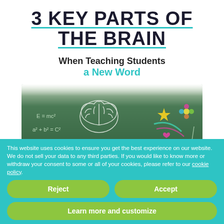3 KEY PARTS OF THE BRAIN
When Teaching Students a New Word
[Figure (photo): A child looking up at a green chalkboard with a drawn outline of a brain and math equations on the left, and colorful drawings (star, flower, hearts, circles) on the right]
This website uses cookies to ensure you get the best experience on our website. We do not sell your data to any third parties. If you would like to know more or withdraw your consent to some or all of your cookies, please refer to our cookie policy.
Reject
Accept
Learn more and customize